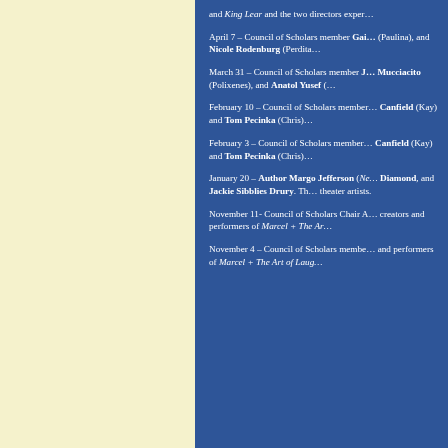and King Lear and the two directors exper…
April 7 – Council of Scholars member Gai… (Paulina), and Nicole Rodenburg (Perdita…
March 31 – Council of Scholars member J… Mucciacito (Polixenes), and Anatol Yusef (…
February 10 – Council of Scholars member… Canfield (Kay) and Tom Pecinka (Chris)…
February 3 – Council of Scholars member… Canfield (Kay) and Tom Pecinka (Chris)…
January 20 – Author Margo Jefferson (Ne… Diamond, and Jackie Sibblies Drury. Th… theater artists.
November 11- Council of Scholars Chair A… creators and performers of Marcel + The Ar…
November 4 – Council of Scholars membe… and performers of Marcel + The Art of Laug…